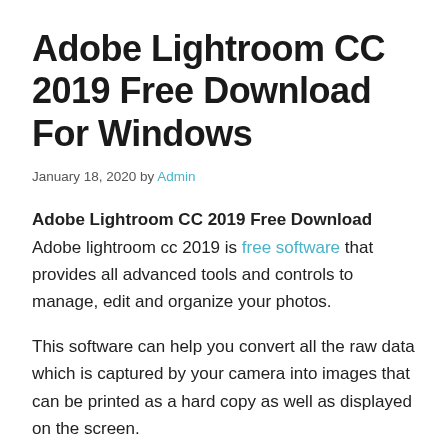Adobe Lightroom CC 2019 Free Download For Windows
January 18, 2020 by Admin
Adobe Lightroom CC 2019 Free Download   Adobe lightroom cc 2019 is free software that provides all advanced tools and controls to manage, edit and organize your photos.
This software can help you convert all the raw data which is captured by your camera into images that can be printed as a hard copy as well as displayed on the screen.